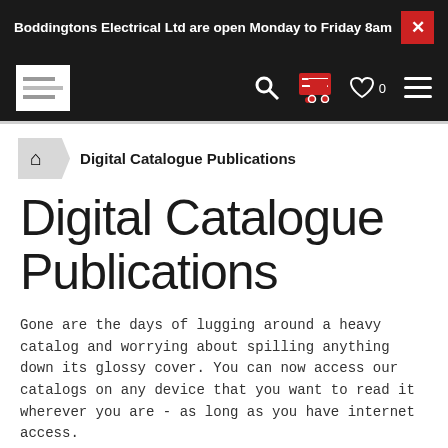Boddingtons Electrical Ltd are open Monday to Friday 8am
[Figure (screenshot): Website navigation bar with logo, search icon, red shopping cart icon, heart/wishlist icon with 0 count, and hamburger menu icon on dark background]
Digital Catalogue Publications
Digital Catalogue Publications
Gone are the days of lugging around a heavy catalog and worrying about spilling anything down its glossy cover. You can now access our catalogs on any device that you want to read it wherever you are - as long as you have internet access.
Plus, there's no need to wait for a page to load, download, or install software such as Javascript to view it. We've made it that simple!
Please note older catalogs are shown for historical purposes and